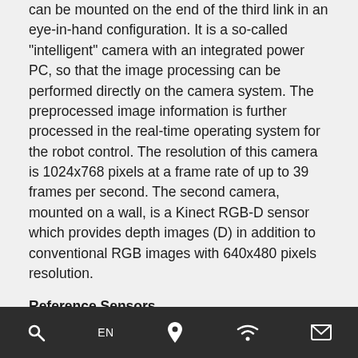can be mounted on the end of the third link in an eye-in-hand configuration. It is a so-called "intelligent" camera with an integrated power PC, so that the image processing can be performed directly on the camera system. The preprocessed image information is further processed in the real-time operating system for the robot control. The resolution of this camera is 1024x768 pixels at a frame rate of up to 39 frames per second. The second camera, mounted on a wall, is a Kinect RGB-D sensor which provides depth images (D) in addition to conventional RGB images with 640x480 pixels resolution.
Reference Sensors
A stereo camera system with a base length of 3 m is
🔍  EN  📍  ((•))  ✉